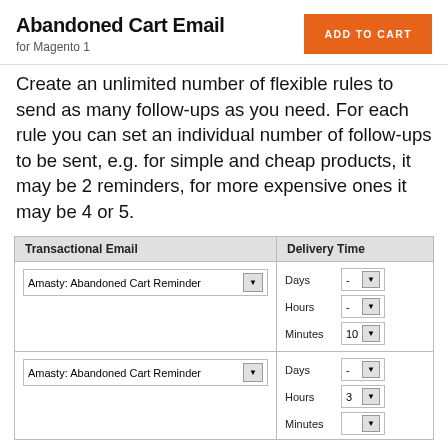Abandoned Cart Email
for Magento 1
Create an unlimited number of flexible rules to send as many follow-ups as you need. For each rule you can set an individual number of follow-ups to be sent, e.g. for simple and cheap products, it may be 2 reminders, for more expensive ones it may be 4 or 5.
| Transactional Email | Delivery Time |
| --- | --- |
| Amasty: Abandoned Cart Reminder | Days: - , Hours: - , Minutes: 10 |
| Amasty: Abandoned Cart Reminder | Days: - , Hours: 3 , Minutes: - |